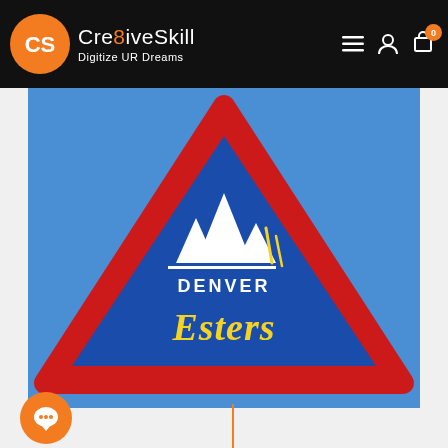CreativeSkill — Digitize UR Dreams
[Figure (photo): Embroidered triangular patch on blue background with red border. White mountain peaks logo at top, text 'DENVER' in white, and 'Esters' in yellow cursive script below.]
[Figure (logo): Orange circular chat button at bottom left]